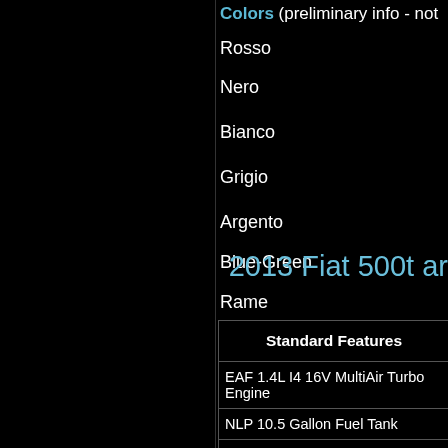Colors (preliminary info - not
Rosso
Nero
Bianco
Grigio
Argento
Blue-Green
Rame
Stay tuned to Fiat500USA.co
2013 Fiat 500t ar
| Standard Features |
| --- |
| EAF 1.4L I4 16V MultiAir Turbo Engine |
| NLP 10.5 Gallon Fuel Tank |
| BAN 120 Amp Alternator |